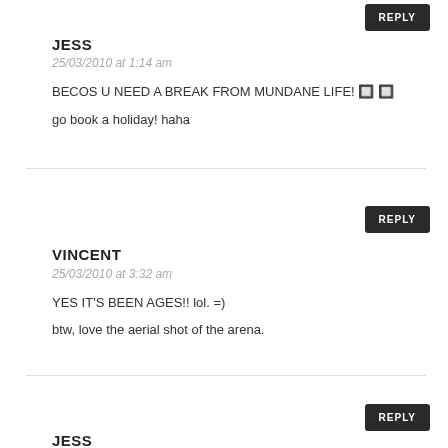REPLY
JESS
25/03/2010 at 1:14 am
BECOS U NEED A BREAK FROM MUNDANE LIFE! 🔲🔲
go book a holiday! haha
REPLY
VINCENT
25/03/2010 at 3:32 am
YES IT'S BEEN AGES!! lol. =)
btw, love the aerial shot of the arena.
REPLY
JESS